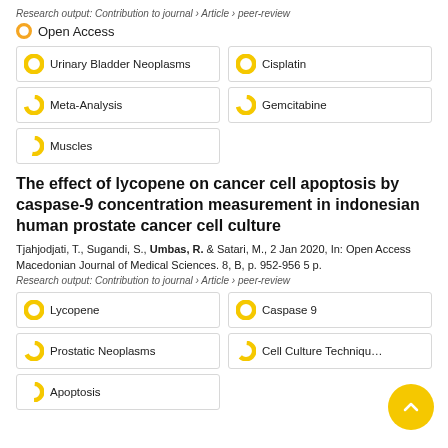Research output: Contribution to journal › Article › peer-review
Open Access
Urinary Bladder Neoplasms
Cisplatin
Meta-Analysis
Gemcitabine
Muscles
The effect of lycopene on cancer cell apoptosis by caspase-9 concentration measurement in indonesian human prostate cancer cell culture
Tjahjodjati, T., Sugandi, S., Umbas, R. & Satari, M., 2 Jan 2020, In: Open Access Macedonian Journal of Medical Sciences. 8, B, p. 952-956 5 p.
Research output: Contribution to journal › Article › peer-review
Lycopene
Caspase 9
Prostatic Neoplasms
Cell Culture Techniques
Apoptosis